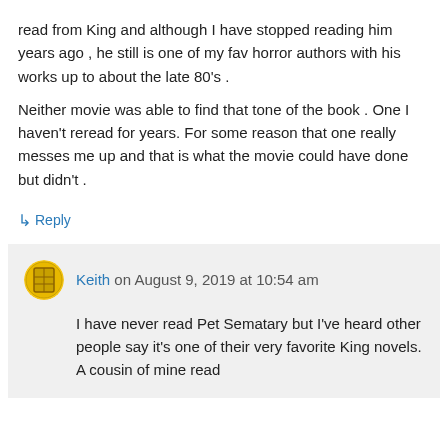read from King and although I have stopped reading him years ago , he still is one of my fav horror authors with his works up to about the late 80's . Neither movie was able to find that tone of the book . One I haven't reread for years. For some reason that one really messes me up and that is what the movie could have done but didn't .
↳ Reply
Keith on August 9, 2019 at 10:54 am
I have never read Pet Sematary but I've heard other people say it's one of their very favorite King novels. A cousin of mine read